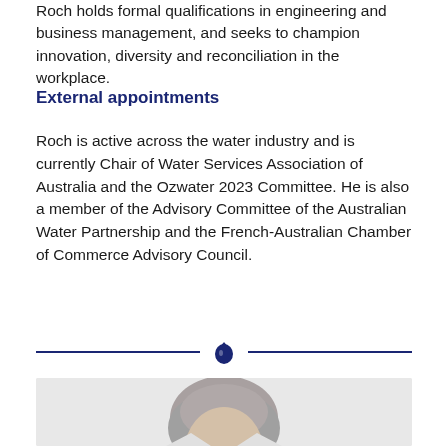Roch holds formal qualifications in engineering and business management, and seeks to champion innovation, diversity and reconciliation in the workplace.
External appointments
Roch is active across the water industry and is currently Chair of Water Services Association of Australia and the Ozwater 2023 Committee. He is also a member of the Advisory Committee of the Australian Water Partnership and the French-Australian Chamber of Commerce Advisory Council.
[Figure (illustration): Decorative divider: a horizontal navy blue line with a navy blue water drop icon in the centre]
[Figure (photo): Portrait photograph of a person with grey hair against a light grey background, cropped at the shoulders]